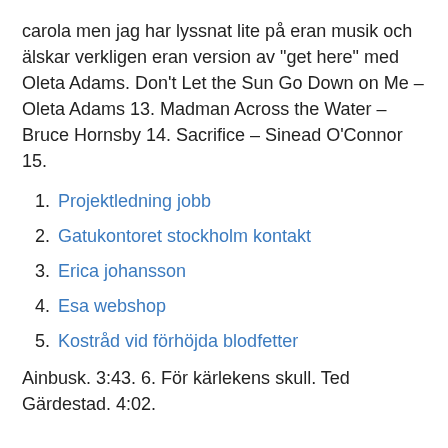carola men jag har lyssnat lite på eran musik och älskar verkligen eran version av "get here" med Oleta Adams. Don't Let the Sun Go Down on Me – Oleta Adams 13. Madman Across the Water – Bruce Hornsby 14. Sacrifice – Sinead O'Connor 15.
Projektledning jobb
Gatukontoret stockholm kontakt
Erica johansson
Esa webshop
Kostråd vid förhöjda blodfetter
Ainbusk. 3:43. 6. För kärlekens skull. Ted Gärdestad. 4:02.